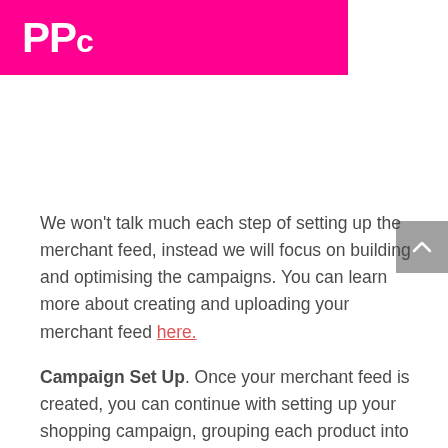PPC
We won't talk much each step of setting up the merchant feed, instead we will focus on building and optimising the campaigns. You can learn more about creating and uploading your merchant feed here.
Campaign Set Up. Once your merchant feed is created, you can continue with setting up your shopping campaign, grouping each product into categories.